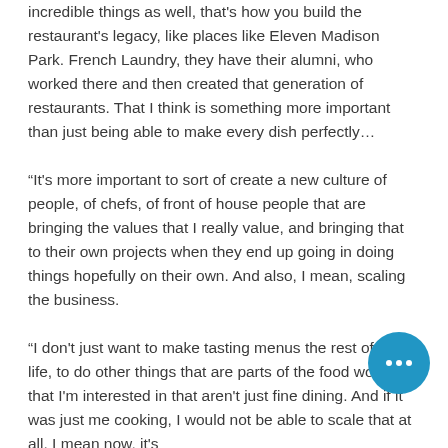incredible things as well, that's how you build the restaurant's legacy, like places like Eleven Madison Park. French Laundry, they have their alumni, who worked there and then created that generation of restaurants. That I think is something more important than just being able to make every dish perfectly…
“It's more important to sort of create a new culture of people, of chefs, of front of house people that are bringing the values that I really value, and bringing that to their own projects when they end up going in doing things hopefully on their own. And also, I mean, scaling the business.
“I don't just want to make tasting menus the rest of my life, to do other things that are parts of the food world that I'm interested in that aren't just fine dining. And if it was just me cooking, I would not be able to scale that at all. I mean now, it's